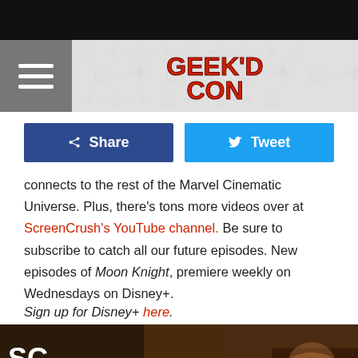[Figure (logo): Geek'd Con logo in red text on a patterned gray banner with hamburger menu on left side]
Share  Tweet (social sharing buttons)
connects to the rest of the Marvel Cinematic Universe. Plus, there's tons more videos over at ScreenCrush's YouTube channel. Be sure to subscribe to catch all our future episodes. New episodes of Moon Knight, premiere weekly on Wednesdays on Disney+.
Sign up for Disney+ here.
[Figure (screenshot): Video thumbnail for MOON KNIGHT: Every Clue That There'... with SC ScreenCrush logo and THIRD logo overlay]